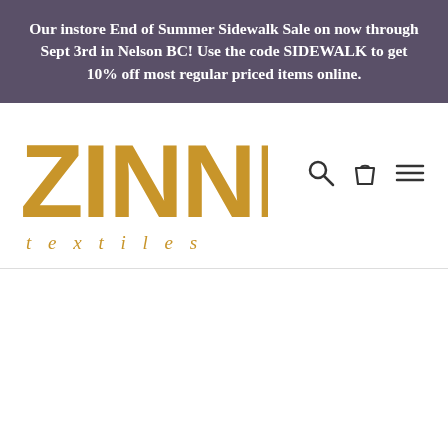Our instore End of Summer Sidewalk Sale on now through Sept 3rd in Nelson BC! Use the code SIDEWALK to get 10% off most regular priced items online.
[Figure (logo): Zinnia Textiles logo with large distressed gold block letters spelling ZINNIA above smaller spaced italic text 'textiles', with search, cart, and hamburger menu icons on the right]